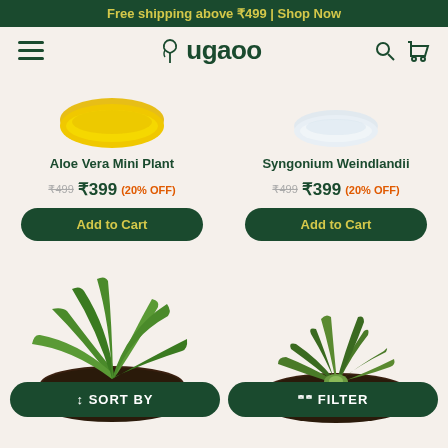Free shipping above ₹499 | Shop Now
[Figure (screenshot): Ugaoo plant shop navigation bar with hamburger menu, Ugaoo logo with leaf icon, search and cart icons]
[Figure (photo): Yellow bowl/pot top view for Aloe Vera Mini Plant]
Aloe Vera Mini Plant
₹499 ₹399 (20% OFF)
Add to Cart
[Figure (photo): White bowl/pot top view for Syngonium Weindlandii]
Syngonium Weindlandii
₹499 ₹399 (20% OFF)
Add to Cart
[Figure (photo): Top-down view of Aloe Vera plant in dark soil pot]
[Figure (photo): Top-down view of spiky succulent plant in dark soil pot]
↕ SORT BY
FILTER